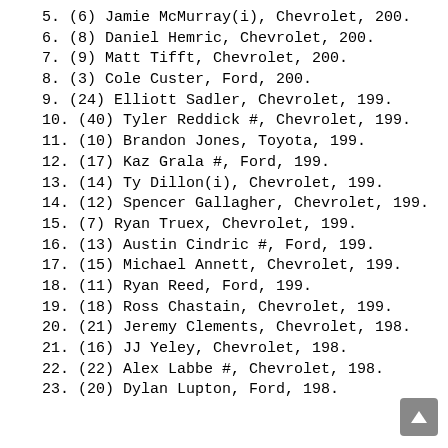5. (6) Jamie McMurray(i), Chevrolet, 200.
6. (8) Daniel Hemric, Chevrolet, 200.
7. (9) Matt Tifft, Chevrolet, 200.
8. (3) Cole Custer, Ford, 200.
9. (24) Elliott Sadler, Chevrolet, 199.
10. (40) Tyler Reddick #, Chevrolet, 199.
11. (10) Brandon Jones, Toyota, 199.
12. (17) Kaz Grala #, Ford, 199.
13. (14) Ty Dillon(i), Chevrolet, 199.
14. (12) Spencer Gallagher, Chevrolet, 199.
15. (7) Ryan Truex, Chevrolet, 199.
16. (13) Austin Cindric #, Ford, 199.
17. (15) Michael Annett, Chevrolet, 199.
18. (11) Ryan Reed, Ford, 199.
19. (18) Ross Chastain, Chevrolet, 199.
20. (21) Jeremy Clements, Chevrolet, 198.
21. (16) JJ Yeley, Chevrolet, 198.
22. (22) Alex Labbe #, Chevrolet, 198.
23. (20) Dylan Lupton, Ford, 198.